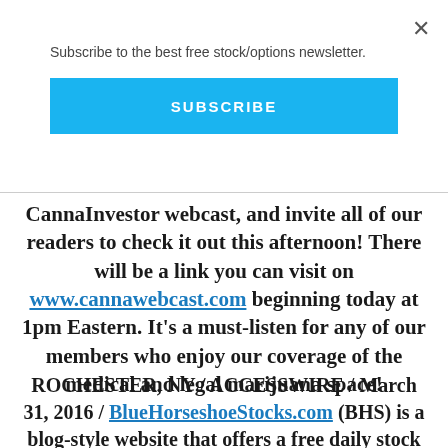×
Subscribe to the best free stock/options newsletter.
SUBSCRIBE
CannaInvestor webcast, and invite all of our readers to check it out this afternoon! There will be a link you can visit on www.cannawebcast.com beginning today at 1pm Eastern. It's a must-listen for any of our members who enjoy our coverage of the medical and legal marijuana space!
ROCHESTER, NY / ACCESSWIRE / March 31, 2016 / BlueHorseshoeStocks.com (BHS) is a blog-style website that offers a free daily stock